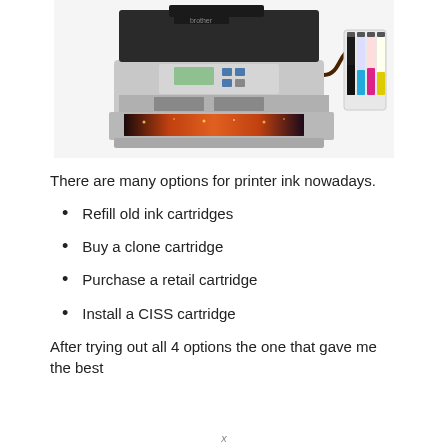[Figure (photo): Photo of a Brother inkjet printer with an external CISS (Continuous Ink Supply System) ink reservoir attached to the right side, printing a colorful city nightscape photo.]
There are many options for printer ink nowadays.
Refill old ink cartridges
Buy a clone cartridge
Purchase a retail cartridge
Install a CISS cartridge
After trying out all 4 options the one that gave me the best